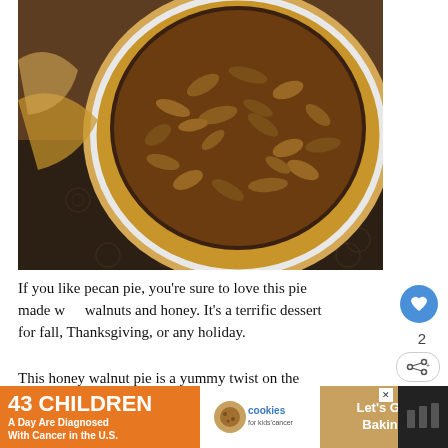[Figure (photo): Overhead close-up photo of a honey walnut pie in a white pie dish, showing a golden-brown pastry crust filled with a glossy walnut topping, placed on a dark floral patterned cloth with some pie pieces visible on the side]
If you like pecan pie, you're sure to love this pie made with walnuts and honey. It's a terrific dessert for fall, Thanksgiving, or any holiday.
This honey walnut pie is a yummy twist on the maple pecan
[Figure (infographic): Advertisement banner: '43 CHILDREN A Day Are Diagnosed With Cancer in the U.S.' with Cookies for Kids' Cancer logo and 'Let's Get Baking' call to action]